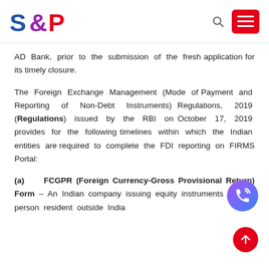S&P logo with search and menu icons
AD Bank, prior to the submission of the fresh application for its timely closure.
The Foreign Exchange Management (Mode of Payment and Reporting of Non-Debt Instruments) Regulations, 2019 (Regulations) issued by the RBI on October 17, 2019 provides for the following timelines within which the Indian entities are required to complete the FDI reporting on FIRMS Portal:
(a)    FCGPR (Foreign Currency-Gross Provisional Return) Form – An Indian company issuing equity instruments to a person resident outside India